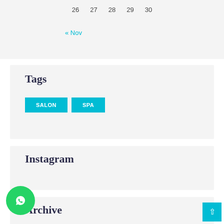| 26 | 27 | 28 | 29 | 30 |
« Nov
Tags
SALON
SPA
Instagram
Archive
November 2020 (2)
October 2020 (144)